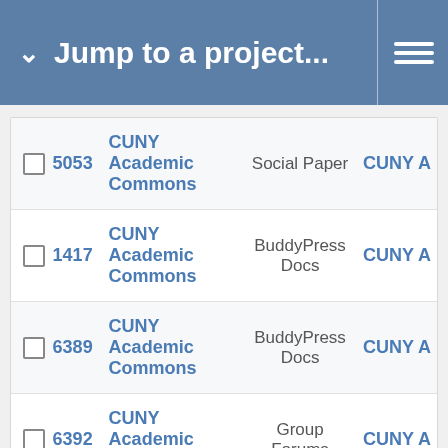Jump to a project...
|  | # | Project | Category | Target |
| --- | --- | --- | --- | --- |
|  | 5053 | CUNY Academic Commons | Social Paper | CUNY A |
|  | 1417 | CUNY Academic Commons | BuddyPress Docs | CUNY A |
|  | 6389 | CUNY Academic Commons | BuddyPress Docs | CUNY A |
|  | 6392 | CUNY Academic Commons | Group Forums | CUNY A |
|  | 1423 | CUNY Academic Commons | BuddyPress (misc) | CUNY A |
|  | 6749 | CUNY Academic Commons | Events | CUNY A |
|  | 6356 | CUNY Academic Commons | WordPress Plugins | CUNY A |